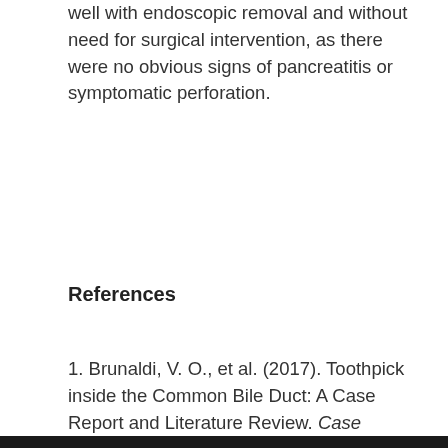well with endoscopic removal and without need for surgical intervention, as there were no obvious signs of pancreatitis or symptomatic perforation.
References
1. Brunaldi, V. O., et al. (2017). Toothpick inside the Common Bile Duct: A Case Report and Literature Review. Case reports in medicine, 2017, 5846290.
[Figure (photo): Black bar at bottom of page, partial image of a medical photograph]